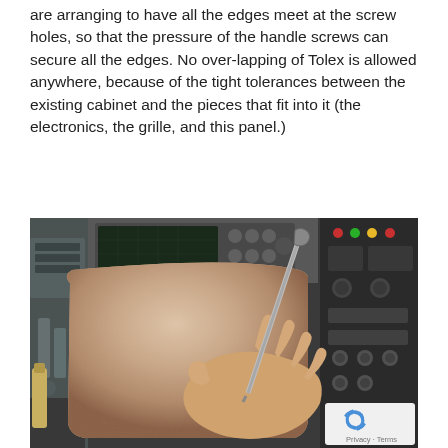are arranging to have all the edges meet at the screw holes, so that the pressure of the handle screws can secure all the edges. No over-lapping of Tolex is allowed anywhere, because of the tight tolerances between the existing cabinet and the pieces that fit into it (the electronics, the grille, and this panel.)
[Figure (photo): A hand using a screwdriver to work on a fabric/Tolex-covered panel or cabinet. The panel has a rounded rectangular shape covered in textured beige/tan Tolex material. Electronic test equipment is visible in the background. A reCAPTCHA Privacy-Terms badge is visible in the lower right corner of the image.]